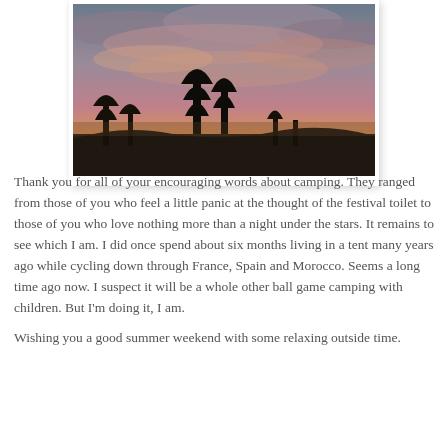[Figure (photo): A sunset or twilight landscape photograph showing silhouettes of tall trees against a dramatic sky with pink, orange, and grey clouds.]
Thank you for all of your encouraging words about camping. They ranged from those of you who feel a little panic at the thought of the festival toilet to those of you who love nothing more than a night under the stars. It remains to see which I am. I did once spend about six months living in a tent many years ago while cycling down through France, Spain and Morocco. Seems a long time ago now. I suspect it will be a whole other ball game camping with children. But I'm doing it, I am.
Wishing you a good summer weekend with some relaxing outside time.